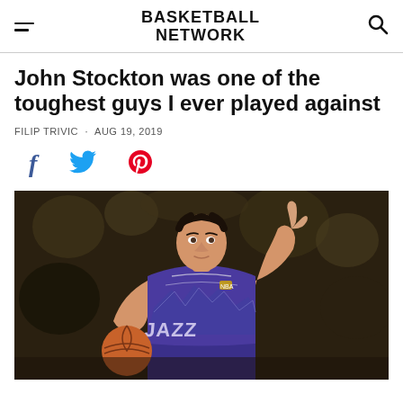BASKETBALL NETWORK
John Stockton was one of the toughest guys I ever played against
FILIP TRIVIC · AUG 19, 2019
[Figure (photo): John Stockton in Utah Jazz purple uniform holding a basketball and pointing one finger up]
[Figure (logo): Social sharing icons: Facebook, Twitter, Pinterest]